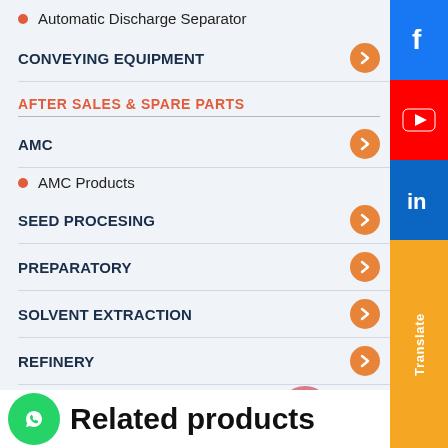Automatic Discharge Separator
CONVEYING EQUIPMENT
AFTER SALES & SPARE PARTS
AMC
AMC Products
SEED PROCESING
PREPARATORY
SOLVENT EXTRACTION
REFINERY
Related products
[Figure (infographic): Social media sidebar icons: Facebook, YouTube, LinkedIn, Translate button]